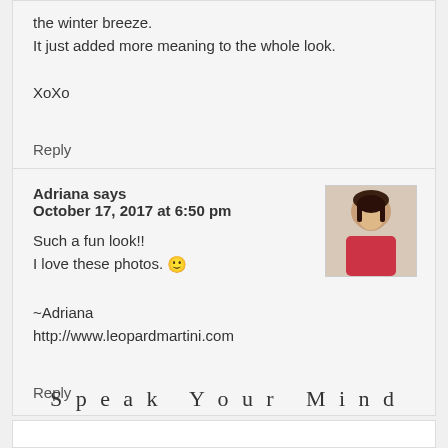the winter breeze.
It just added more meaning to the whole look.
XoXo
Reply
Adriana says
October 17, 2017 at 6:50 pm
[Figure (photo): Avatar photo of Adriana, a woman in a red outfit]
Such a fun look!!
I love these photos. 🙂
~Adriana
http://www.leopardmartini.com
Reply
Speak Your Mind